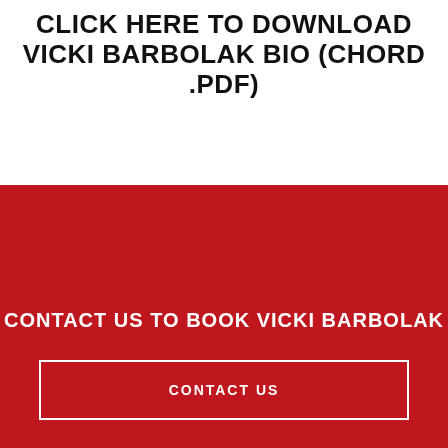CLICK HERE TO DOWNLOAD VICKI BARBOLAK BIO (CHORD.PDF)
CONTACT US TO BOOK VICKI BARBOLAK
CONTACT US